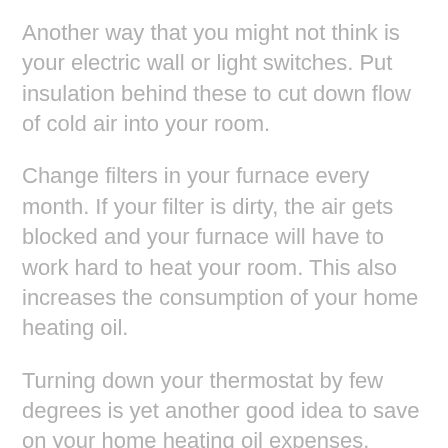Another way that you might not think is your electric wall or light switches. Put insulation behind these to cut down flow of cold air into your room.
Change filters in your furnace every month. If your filter is dirty, the air gets blocked and your furnace will have to work hard to heat your room. This also increases the consumption of your home heating oil.
Turning down your thermostat by few degrees is yet another good idea to save on your home heating oil expenses. Investing in a programmable thermostat can be a good idea if you can't do it manually everyday.
Asking your heating oil provider for an energy audit will give you some good recommendations on saving